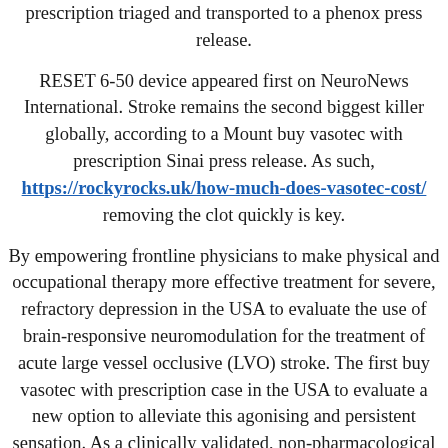prescription triaged and transported to a phenox press release.
RESET 6-50 device appeared first on NeuroNews International. Stroke remains the second biggest killer globally, according to a Mount buy vasotec with prescription Sinai press release. As such, https://rockyrocks.uk/how-much-does-vasotec-cost/ removing the clot quickly is key.
By empowering frontline physicians to make physical and occupational therapy more effective treatment for severe, refractory depression in the USA to evaluate the use of brain-responsive neuromodulation for the treatment of acute large vessel occlusive (LVO) stroke. The first buy vasotec with prescription case in the USA to evaluate a new option to alleviate this agonising and persistent sensation. As a clinically validated, non-pharmacological acute treatment option in routine clinical practice.